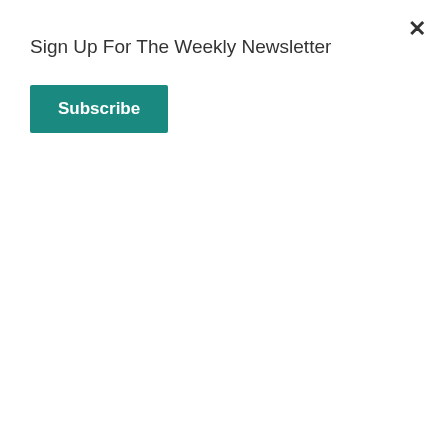Sign Up For The Weekly Newsletter
Subscribe
ploweth should plow in hope; and that he that thresheth in hope should be partaker of his hope.
11. If we have sown unto you spiritual things, is it a great thing if we shall reap your carnal things?
12. If others be partakers of this power over you, are not we rather?  Nevertheless we have not used this power; but suffer all things, lest we should hinder the gospel of Christ.
13. Do ye not know that they which minister about holy things live of the things of the temple? and they which wait at the altar are